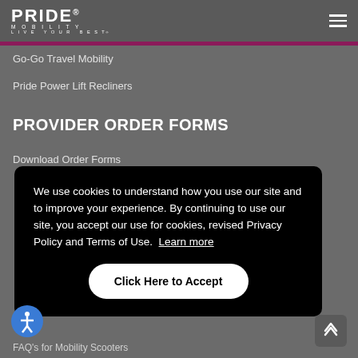PRIDE MOBILITY LIVE YOUR BEST
Go-Go Travel Mobility
Pride Power Lift Recliners
PROVIDER ORDER FORMS
Download Order Forms
We use cookies to understand how you use our site and to improve your experience. By continuing to use our site, you accept our use for cookies, revised Privacy Policy and Terms of Use. Learn more
Click Here to Accept
FAQ's for Mobility Scooters